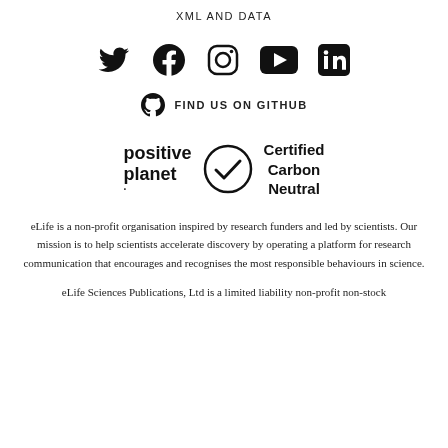XML AND DATA
[Figure (illustration): Social media icons: Twitter, Facebook, Instagram, YouTube, LinkedIn]
[Figure (illustration): GitHub Octocat icon with text FIND US ON GITHUB]
[Figure (logo): Positive Planet logo with checkmark and Certified Carbon Neutral text]
eLife is a non-profit organisation inspired by research funders and led by scientists. Our mission is to help scientists accelerate discovery by operating a platform for research communication that encourages and recognises the most responsible behaviours in science.
eLife Sciences Publications, Ltd is a limited liability non-profit non-stock